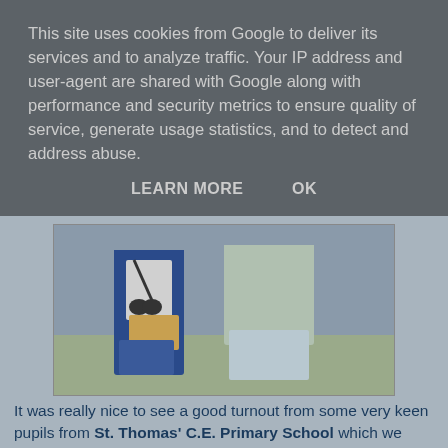This site uses cookies from Google to deliver its services and to analyze traffic. Your IP address and user-agent are shared with Google along with performance and security metrics to ensure quality of service, generate usage statistics, and to detect and address abuse.
LEARN MORE    OK
[Figure (photo): Two people standing outdoors, one wearing a blue jacket and holding binoculars and a clipboard, another in a light grey shirt and shorts.]
It was really nice to see a good turnout from some very keen pupils from St. Thomas' C.E. Primary School which we visited for the second time last Wednesday (report to follow) - Hi to Amie and older sister Lauren, Darren and brother Ethan, William and not forgetting AJ and his friend.
We made lots of new friends and contacts and have even arranged to do a presentation at 1st Astley Cubs next Thursday evening.  We also hope to be doing another